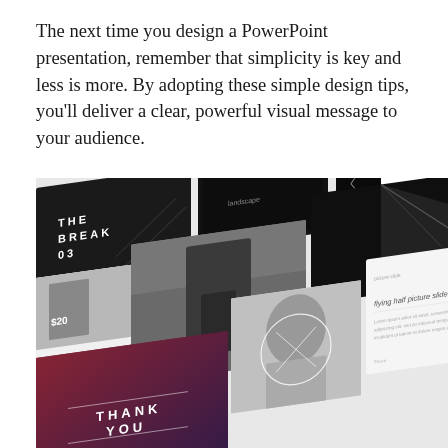The next time you design a PowerPoint presentation, remember that simplicity is key and less is more. By adopting these simple design tips, you'll deliver a clear, powerful visual message to your audience.
[Figure (screenshot): A collage of minimalist PowerPoint presentation slide designs shown at an angle, featuring dark and light slides with text like 'THE BREAK 03', '$20', 'THANK YOU', 'picture slide', 'THE BREAK 04', 'flying half picture slide', and a slide with a woman's portrait in black and white.]